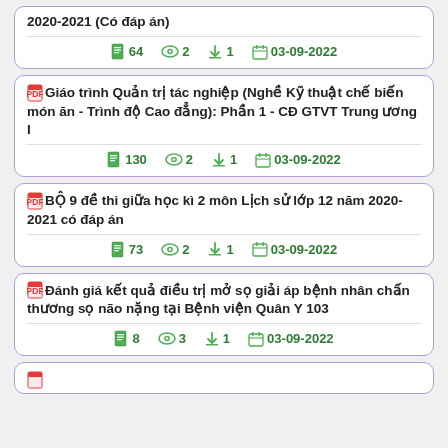2020-2021 (Có đáp án) — pages: 64, views: 2, downloads: 1, date: 03-09-2022
Giáo trình Quản trị tác nghiệp (Nghề Kỹ thuật chế biến món ăn - Trình độ Cao đẳng): Phần 1 - CĐ GTVT Trung ương I — pages: 130, views: 2, downloads: 1, date: 03-09-2022
BỘ 9 đề thi giữa học kì 2 môn Lịch sử lớp 12 năm 2020-2021 có đáp án — pages: 73, views: 2, downloads: 1, date: 03-09-2022
Đánh giá kết quả điều trị mở sọ giải áp bệnh nhân chấn thương sọ não nặng tại Bệnh viện Quân Y 103 — pages: 8, views: 3, downloads: 1, date: 03-09-2022
(partial card visible at bottom)